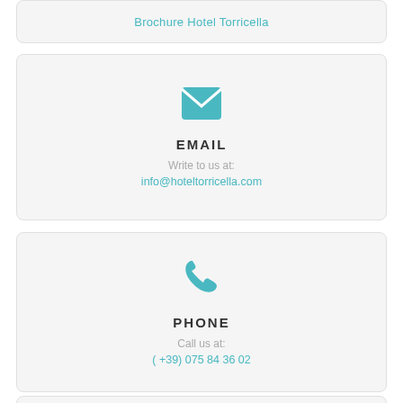Brochure Hotel Torricella
[Figure (illustration): Teal envelope icon representing email contact]
EMAIL
Write to us at:
info@hoteltorricella.com
[Figure (illustration): Teal phone handset icon representing phone contact]
PHONE
Call us at:
( +39) 075 84 36 02